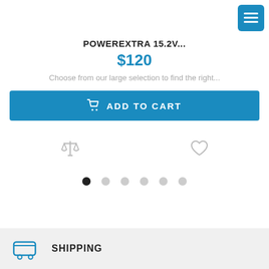[Figure (screenshot): Blue menu/hamburger button in top right corner]
POWEREXTRA 15.2V...
$120
Choose from our large selection to find the right...
[Figure (other): Add to Cart button with shopping cart icon]
[Figure (other): Compare (scales) and Wishlist (heart) icons]
[Figure (other): Carousel pagination dots, first dot active]
SHIPPING